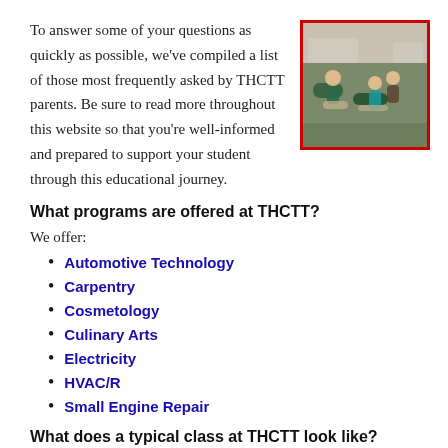To answer some of your questions as quickly as possible, we've compiled a list of those most frequently asked by THCTT parents. Be sure to read more throughout this website so that you're well-informed and prepared to support your student through this educational journey.
[Figure (photo): Students practicing CPR/first aid in a classroom setting with an instructor present]
What programs are offered at THCTT?
We offer:
Automotive Technology
Carpentry
Cosmetology
Culinary Arts
Electricity
HVAC/R
Small Engine Repair
What does a typical class at THCTT look like?